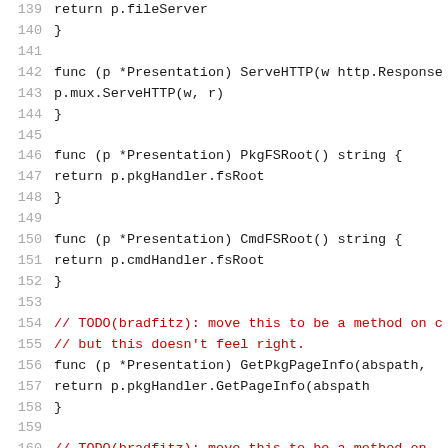139   return p.fileServer
140   }
141
142   func (p *Presentation) ServeHTTP(w http.Response
143           p.mux.ServeHTTP(w, r)
144   }
145
146   func (p *Presentation) PkgFSRoot() string {
147           return p.pkgHandler.fsRoot
148   }
149
150   func (p *Presentation) CmdFSRoot() string {
151           return p.cmdHandler.fsRoot
152   }
153
154   // TODO(bradfitz): move this to be a method on c
155   // but this doesn't feel right.
156   func (p *Presentation) GetPkgPageInfo(abspath,
157           return p.pkgHandler.GetPageInfo(abspath
158   }
159
160   // TODO(bradfitz): move this to be a method on